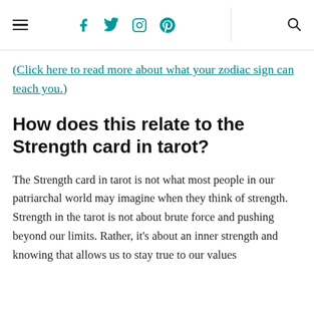≡ f t ⊙ ℗ 🔍
(Click here to read more about what your zodiac sign can teach you.)
How does this relate to the Strength card in tarot?
The Strength card in tarot is not what most people in our patriarchal world may imagine when they think of strength. Strength in the tarot is not about brute force and pushing beyond our limits. Rather, it's about an inner strength and knowing that allows us to stay true to our values